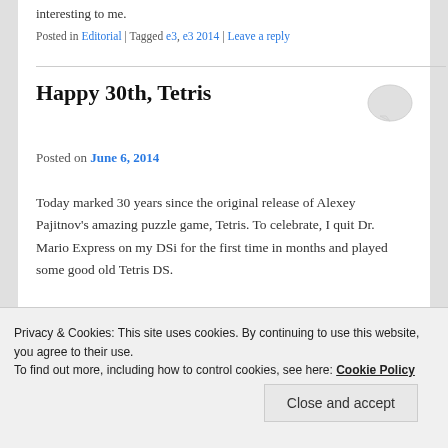interesting to me.
Posted in Editorial | Tagged e3, e3 2014 | Leave a reply
Happy 30th, Tetris
Posted on June 6, 2014
Today marked 30 years since the original release of Alexey Pajitnov's amazing puzzle game, Tetris. To celebrate, I quit Dr. Mario Express on my DSi for the first time in months and played some good old Tetris DS.
Privacy & Cookies: This site uses cookies. By continuing to use this website, you agree to their use. To find out more, including how to control cookies, see here: Cookie Policy